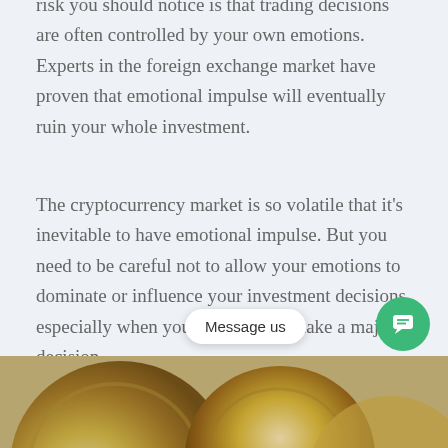Before investing on the cryptocurrency market, the second risk you should notice is that trading decisions are often controlled by your own emotions. Experts in the foreign exchange market have proven that emotional impulse will eventually ruin your whole investment.
The cryptocurrency market is so volatile that it's inevitable to have emotional impulse. But you need to be careful not to allow your emotions to dominate or influence your investment decisions, especially when you are going to make a major decision.
Risk 3: Rush to buy altcoin which is “cheap without market verification”
[Figure (photo): Photo of cryptocurrency coins (altcoins), partially visible at the bottom of the page]